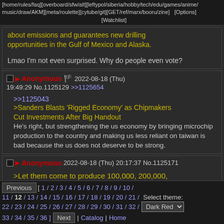[home/rules/faq][overboard/sfw/alt][leftypol/siberia/hobby/tech/edu/games/anime/music/draw/AKM][meta/roulette][cytube/git][GET/ref/marx/booru/zine]   [Options][Watchlist]
about emissions and guarantees new drilling opportunities in the Gulf of Mexico and Alaska.

Lmao I'm not even surprised. Why do people even vote?
Anonymous 🏴 2022-08-18 (Thu) 19:49:29 No.1125129 >>1125654

>>1125043
>Sanders Blasts 'Rigged Economy' as Chipmakers Cut Investments After Big Handout
He's right, but strengthening the us economy by bringing microchip production to the country and making us less reliant on taiwan is bad because the us does not deserve to be strong.
Anonymous 2022-08-18 (Thu) 20:17:37 No.1125171

>Let them come to produce 100,000, 200,000,
Previous [ 1 / 2 / 3 / 4 / 5 / 6 / 7 / 8 / 9 / 10 / 11 / 12 / 13 / 14 / 15 / 16 / 17 / 18 / 19 / 20 / 21 / Select theme: 22 / 23 / 24 / 25 / 26 / 27 / 28 / 29 / 30 / 31 / 32 / Dark Red 33 / 34 / 35 / 36 ] Next | Catalog | Home